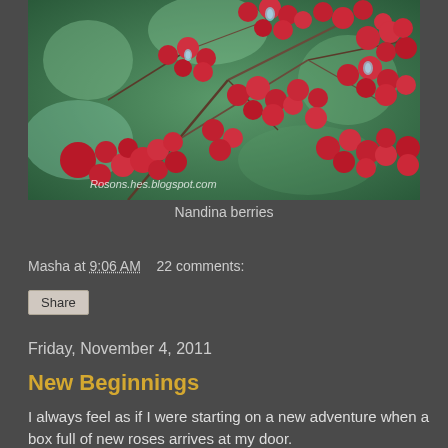[Figure (photo): Close-up photograph of bright red Nandina berries on branches with water droplets, blurred green background. Watermark reads 'Rosons.hes.blogspot.com'.]
Nandina berries
Masha at 9:06 AM   22 comments:
Share
Friday, November 4, 2011
New Beginnings
I always feel as if I were starting on a new adventure when a box full of new roses arrives at my door.